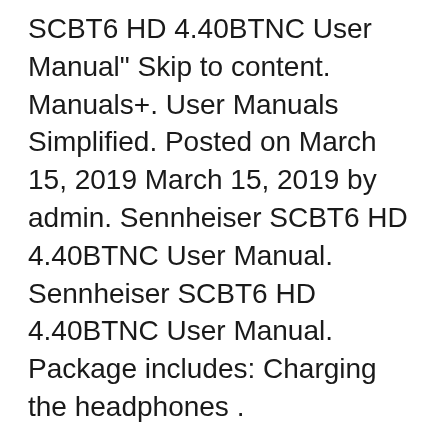SCBT6 HD 4.40BTNC User Manual" Skip to content. Manuals+. User Manuals Simplified. Posted on March 15, 2019 March 15, 2019 by admin. Sennheiser SCBT6 HD 4.40BTNC User Manual. Sennheiser SCBT6 HD 4.40BTNC User Manual. Package includes: Charging the headphones .
Need help with HD 4.40 BT Sennheiser. Help Request. Here's a soft copy of the full user manual. To add on to what you've already done, your HD 4.40 BT is now actually paired to both devices. By default, it will attempt to connect to the most-recently used source device when it powers on; to force it to connect to a specific device, you can Den nye